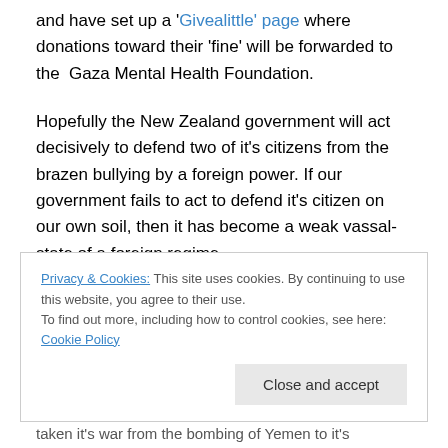and have set up a 'Givealittle' page where donations toward their 'fine' will be forwarded to the  Gaza Mental Health Foundation.
Hopefully the New Zealand government will act decisively to defend two of it's citizens from the brazen bullying by a foreign power. If our government fails to act to defend it's citizen on our own soil, then it has become a weak vassal-state of a foreign regime.
Privacy & Cookies: This site uses cookies. By continuing to use this website, you agree to their use. To find out more, including how to control cookies, see here: Cookie Policy
Close and accept
taken it's war from the bombing of Yemen to it's Consulate...